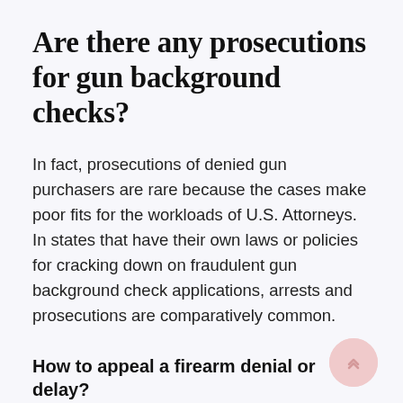Are there any prosecutions for gun background checks?
In fact, prosecutions of denied gun purchasers are rare because the cases make poor fits for the workloads of U.S. Attorneys. In states that have their own laws or policies for cracking down on fraudulent gun background check applications, arrests and prosecutions are comparatively common.
How to appeal a firearm denial or delay?
This can be incredibly embarrassing for a potential gun buyer, especially for someone